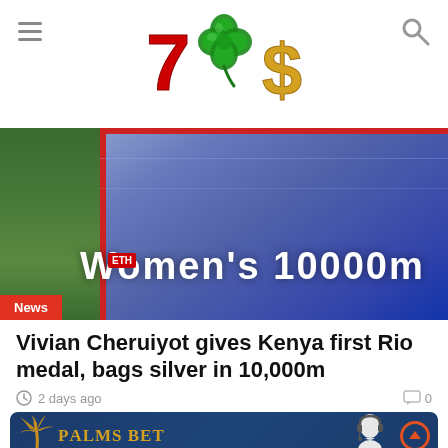7☘$ logo with hamburger menu and search icon
[Figure (photo): Women's 10000m scoreboard/LED display at a track and field event, with grass visible in lower left. A red 'News' badge overlays the bottom left corner.]
Vivian Cheruiyot gives Kenya first Rio medal, bags silver in 10,000m
2 days ago   0
[Figure (logo): Palms Bet advertisement banner on dark blue background with palm tree logo, headset support agent figure, and orange upload/up arrow circle button on the right.]